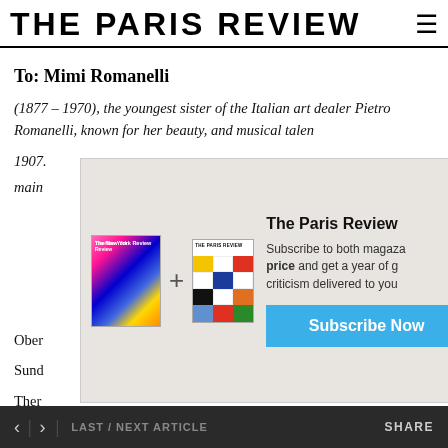THE PARIS REVIEW
To: Mimi Romanelli
(1877 – 1970), the youngest sister of the Italian art dealer Pietro Romanelli, known for her beauty, and musical talents. 1907. main
Ober
[Figure (screenshot): Subscription popup overlay showing two magazine covers (The New York Review and The Paris Review) with a plus sign between them, text 'The Paris Review Subscribe to both magazines at a special price and get a year of great criticism delivered to your doorstep', and a blue 'Subscribe Now' button.]
Sund
There pretend to ignore this: death, whose unforgiving
< > LAST / NEXT ARTICLE    SHARE